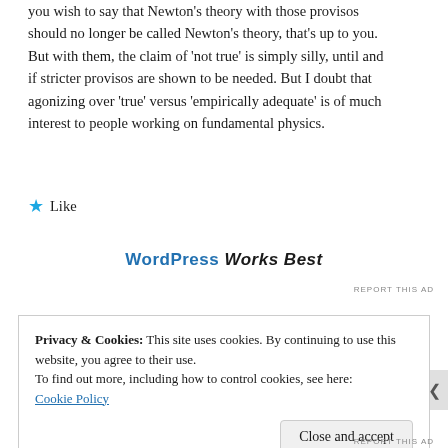you wish to say that Newton's theory with those provisos should no longer be called Newton's theory, that's up to you. But with them, the claim of 'not true' is simply silly, until and if stricter provisos are shown to be needed. But I doubt that agonizing over 'true' versus 'empirically adequate' is of much interest to people working on fundamental physics.
★ Like
WordPress Works Best
REPORT THIS AD
Privacy & Cookies: This site uses cookies. By continuing to use this website, you agree to their use.
To find out more, including how to control cookies, see here: Cookie Policy
Close and accept
REPORT THIS AD